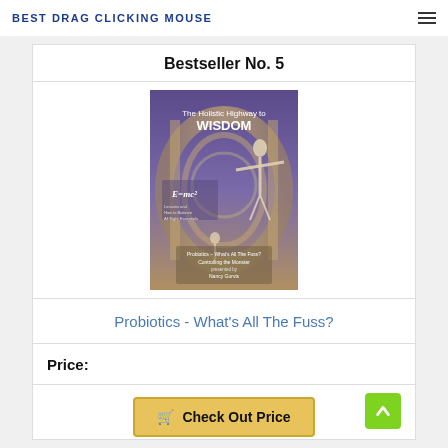BEST DRAG CLICKING MOUSE
Bestseller No. 5
[Figure (photo): Book cover for 'The Holistic Highway to WISDOM' featuring a stylized image with a person figure and text about Probiotics - What's All The Fuss? Controlling the Monster, presented by Nancy Gurvis]
Probiotics - What's All The Fuss?
Price:
Check Out Price